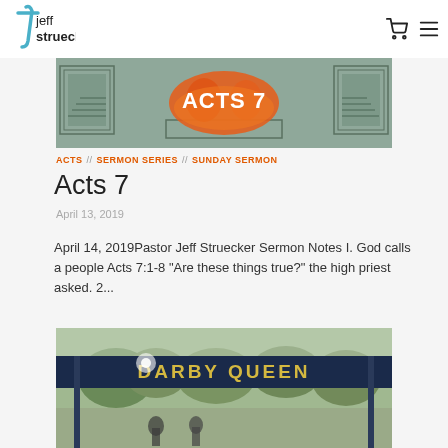jeff struecker
[Figure (illustration): Acts 7 sermon series banner image with geometric architectural design and orange Acts 7 text]
ACTS // SERMON SERIES // SUNDAY SERMON
Acts 7
April 13, 2019
April 14, 2019Pastor Jeff Struecker Sermon Notes I. God calls a people Acts 7:1-8 "Are these things true?" the high priest asked. 2...
[Figure (photo): Outdoor photo showing a sign reading DARBY QUEEN over a road with trees in background and people in foreground]